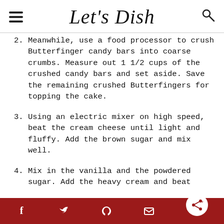Let's Dish
2. Meanwhile, use a food processor to crush Butterfinger candy bars into coarse crumbs. Measure out 1 1/2 cups of the crushed candy bars and set aside. Save the remaining crushed Butterfingers for topping the cake.
3. Using an electric mixer on high speed, beat the cream cheese until light and fluffy. Add the brown sugar and mix well.
4. Mix in the vanilla and the powdered sugar. Add the heavy cream and beat
f  twitter  p  email  share